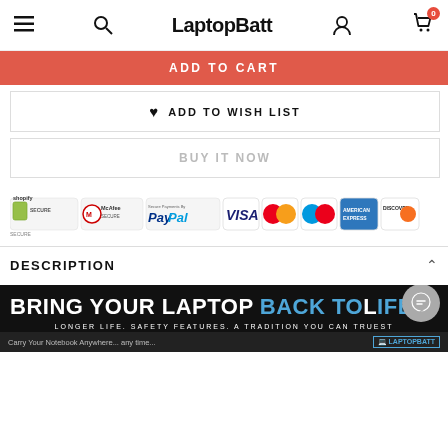LaptopBatt
ADD TO CART
♥ ADD TO WISH LIST
BUY IT NOW
[Figure (screenshot): Row of secure payment logos: Shopify Secure, McAfee Secure, Secure Payments by PayPal, Visa, Mastercard, Maestro, American Express, Discover, JCB, Secure SSL Encryption]
DESCRIPTION
[Figure (infographic): LaptopBatt promotional banner with text: BRING YOUR LAPTOP BACK TO [LIFE] in bold black and blue on dark background, subtitle: LONGER LIFE. SAFETY FEATURES. A TRADITION YOU CAN TRUEST, and footer: Carry Your Notebook Anywhere... any time... with LaptopBatt logo]